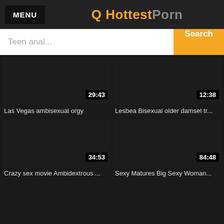MENU | Q HottestPorn
Teen anal... Search
[Figure (screenshot): Dark video thumbnail with duration badge 29:43]
Las Vegas ambisexual orgy
[Figure (screenshot): Dark video thumbnail with duration badge 12:38]
Lesbea Bisexual older damsel tr...
[Figure (screenshot): Dark video thumbnail with duration badge 34:53]
Crazy sex movie Ambidextrous ...
[Figure (screenshot): Dark video thumbnail with duration badge 84:48]
Sexy Matures Big Sexy Woman...